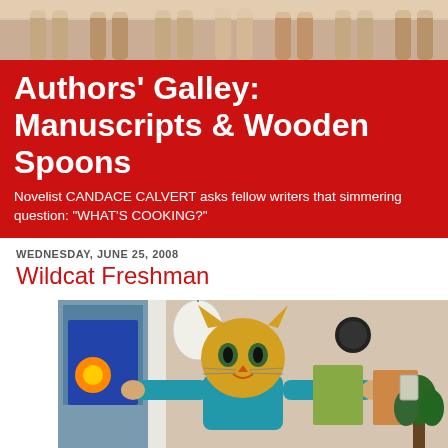[Figure (photo): Header photo showing legs/feet of people standing, warm beige/tan tones]
Authors' Galley: Manuscripts & Wooden Spoons
Novelist CANDACE CALVERT asks fellow writers that simmering question: "WHAT'S COOKING?"
WEDNESDAY, JUNE 25, 2008
Wildcat Freshman
[Figure (photo): Person wearing a large yellow wildcat/cat mask/head costume, arms outstretched, standing in a room with artwork on walls, a round black clock, a paper lantern lamp, and a plant]